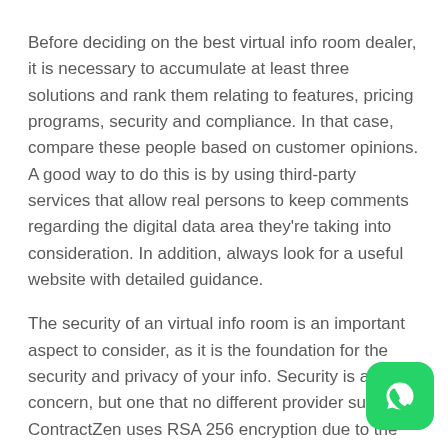Before deciding on the best virtual info room dealer, it is necessary to accumulate at least three solutions and rank them relating to features, pricing programs, security and compliance. In that case, compare these people based on customer opinions. A good way to do this is by using third-party services that allow real persons to keep comments regarding the digital data area they're taking into consideration. In addition, always look for a useful website with detailed guidance.
The security of an virtual info room is an important aspect to consider, as it is the foundation for the security and privacy of your info. Security is a major concern, but one that no different provider suits. ContractZen uses RSA 256 encryption due to the documents and services connection. The system may include extended acceptance to prevent unauthorized
[Figure (logo): WhatsApp logo button — green rounded square with white phone handset icon]